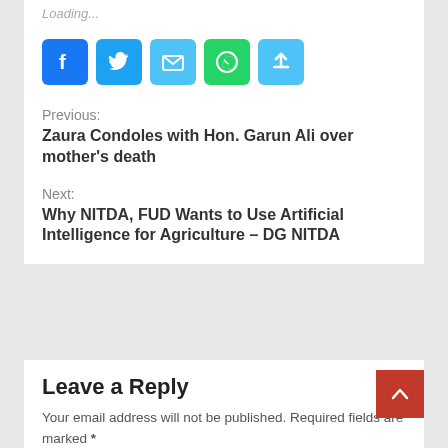Loading...
[Figure (infographic): Row of five social sharing icon buttons: Facebook (blue), Twitter (blue), Email (light blue), WhatsApp (green), Share/More (light blue)]
Previous:
Zaura Condoles with Hon. Garun Ali over mother's death
Next:
Why NITDA, FUD Wants to Use Artificial Intelligence for Agriculture – DG NITDA
Leave a Reply
Your email address will not be published. Required fields are marked *